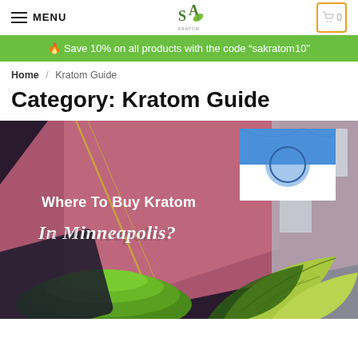MENU | SA Kratom logo | Cart (0)
🔥 Save 10% on all products with the code "sakratom10"
Home / Kratom Guide
Category: Kratom Guide
[Figure (photo): Promotional banner image with text 'Where To Buy Kratom In Minneapolis?' overlaid on a composite image featuring a city flag of Minneapolis, green kratom powder, and kratom leaves on a dark/pink diagonal background.]